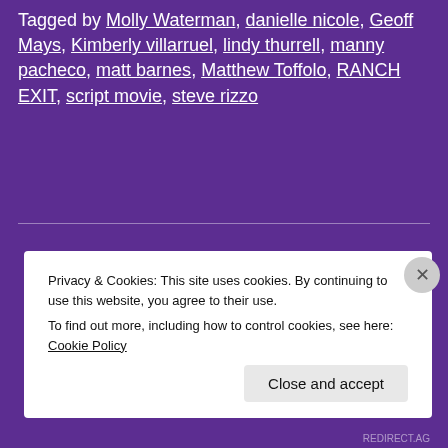Tagged by Molly Waterman, danielle nicole, Geoff Mays, Kimberly villarruel, lindy thurrell, manny pacheco, matt barnes, Matthew Toffolo, RANCH EXIT, script movie, steve rizzo
Privacy & Cookies: This site uses cookies. By continuing to use this website, you agree to their use. To find out more, including how to control cookies, see here: Cookie Policy
Close and accept